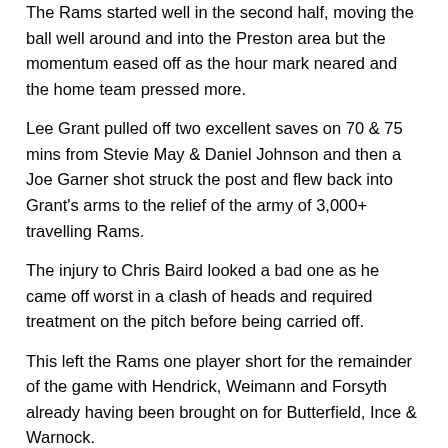The Rams started well in the second half, moving the ball well around and into the Preston area but the momentum eased off as the hour mark neared and the home team pressed more.
Lee Grant pulled off two excellent saves on 70 & 75 mins from Stevie May & Daniel Johnson and then a Joe Garner shot struck the post and flew back into Grant's arms to the relief of the army of 3,000+ travelling Rams.
The injury to Chris Baird looked a bad one as he came off worst in a clash of heads and required treatment on the pitch before being carried off.
This left the Rams one player short for the remainder of the game with Hendrick, Weimann and Forsyth already having been brought on for Butterfield, Ince & Warnock.